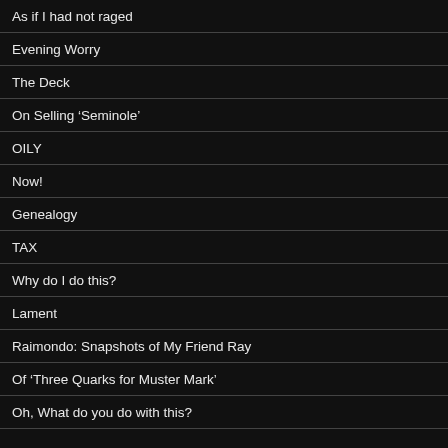As if I had not raged
Evening Worry
The Deck
On Selling ‘Seminole’
OILY
Now!
Genealogy
TAX
Why do I do this?
Lament
Raimondo: Snapshots of My Friend Ray
Of ‘Three Quarks for Muster Mark’
Oh, What do you do with this?